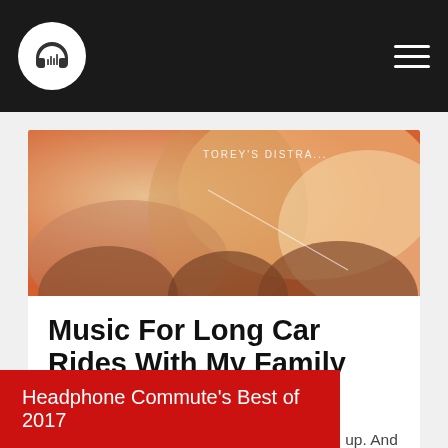Headphone Commute logo and navigation
[Figure (photo): Abstract orange and red artwork with text 'TOREY'S DISTRA...' visible, blurred warm tones suggesting an album cover]
Music For Long Car Rides With My Family and Friends
My family and friends have long time given up. And even though I listen to everything ...
Headphone Commute's Best of 2017